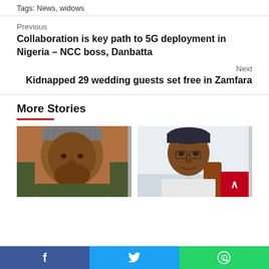Tags: News, widows
Previous
Collaboration is key path to 5G deployment in Nigeria – NCC boss, Danbatta
Next
Kidnapped 29 wedding guests set free in Zamfara
More Stories
[Figure (photo): Portrait photo of a man wearing a traditional cap, smiling]
[Figure (photo): Portrait photo of a man wearing a dark cap, seated]
Facebook share button
Twitter share button
WhatsApp share button